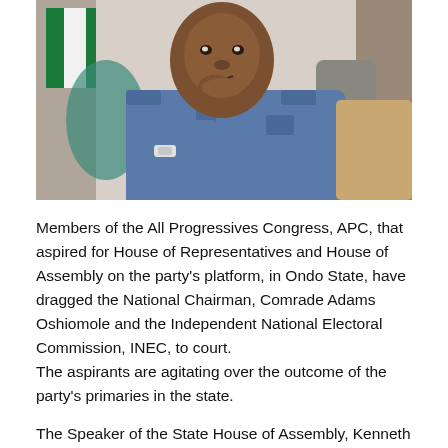[Figure (photo): A man in a blue uniform shirt, sitting and resting his chin on his hand in a thoughtful pose, wearing a white watch. A Nigerian flag is partially visible in the background.]
Members of the All Progressives Congress, APC, that aspired for House of Representatives and House of Assembly on the party's platform, in Ondo State, have dragged the National Chairman, Comrade Adams Oshiomole and the Independent National Electoral Commission, INEC, to court.
The aspirants are agitating over the outcome of the party's primaries in the state.
The Speaker of the State House of Assembly, Kenneth